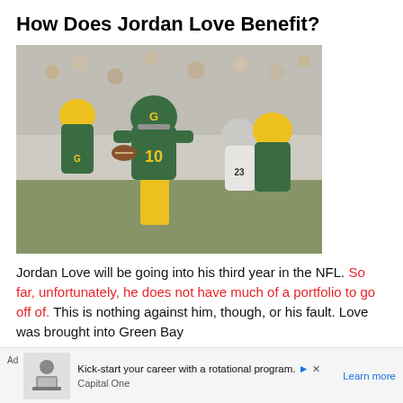How Does Jordan Love Benefit?
[Figure (photo): Green Bay Packers quarterback Jordan Love (#10) in a green and yellow uniform holding a football, surrounded by teammates and opposing players during an NFL game.]
Jordan Love will be going into his third year in the NFL. So far, unfortunately, he does not have much of a portfolio to go off of. This is nothing against him, though, or his fault. Love was brought into Green Bay
Ad  Kick-start your career with a rotational program.  Capital One  Learn more